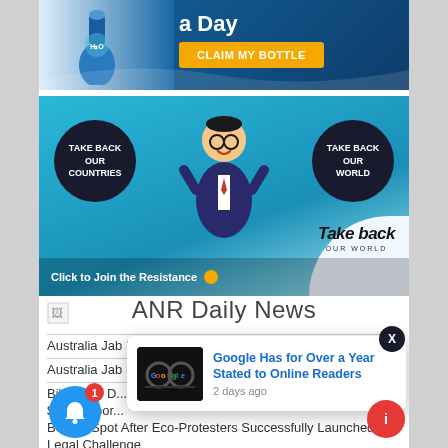[Figure (illustration): Advertisement banner: blue background with product bottle on left, text 'a Day' in white bold, orange 'CLAIM MY BOTTLE' button]
[Figure (illustration): Advertisement banner: 'Take back Our World' — cartoon figure in suit holding two dark circles reading 'TAKE BACK OUR COUNTRIES' and 'TAKE BACK OUR WORLD', teal background, 'Click to Join the Resistance' text at bottom]
[Figure (illustration): Small broken image icon (logo placeholder)]
ANR Daily News
Australia Jab Injuries – Troy
Australia Jab Injuries – Leanne
Billionaire D...
$10M 'Door...
Beauty Spot After Eco-Protesters Successfully Launched
Legal Challenge
[Figure (screenshot): Browser notification popup: thumbnail of Google glasses image on left, text 'Google Has for Over a Year Stated to Online Readers' in blue, '2 days ago' below in gray]
X
[Figure (illustration): Blue notification bell button with red badge showing '1']
[Figure (illustration): Red circle button at bottom right]